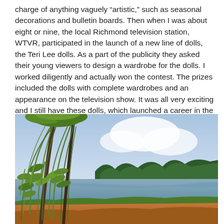charge of anything vaguely “artistic,” such as seasonal decorations and bulletin boards. Then when I was about eight or nine, the local Richmond television station, WTVR, participated in the launch of a new line of dolls, the Teri Lee dolls. As a part of the publicity they asked their young viewers to design a wardrobe for the dolls. I worked diligently and actually won the contest. The prizes included the dolls with complete wardrobes and an appearance on the television show. It was all very exciting and I still have these dolls, which launched a career in the arts.
[Figure (illustration): A painted landscape scene viewed through hanging willow-like branches with long green leaves in the foreground. In the background there is a calm water body (lake or river), with trees and vegetation along the far bank under a blue and white cloudy sky. The lower foreground shows orange-brown earth or grass.]